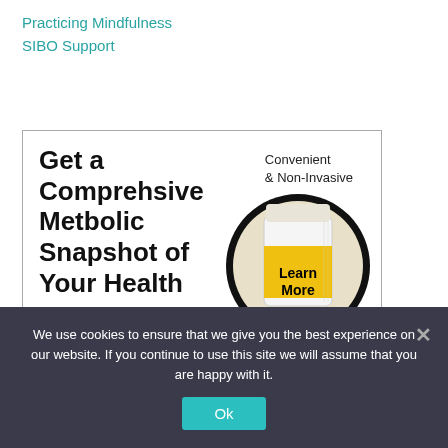Practicing Mindfulness
SIBO Support
[Figure (infographic): Advertisement banner with text 'Get a Comprehsive Metbolic Snapshot of Your Health' on left, 'Convenient & Non-Invasive' on upper right, and a magnifying glass over a yellow urine sample container with 'Learn More' overlay text.]
We use cookies to ensure that we give you the best experience on our website. If you continue to use this site we will assume that you are happy with it.